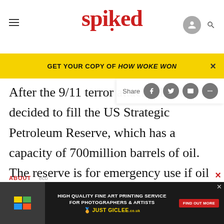spiked
GET YOUR COPY OF HOW WOKE WON
After the 9/11 terror attacks, Bush decided to fill the US Strategic Petroleum Reserve, which has a capacity of 700million barrels of oil. The reserve is for emergency use if oil supplies were to be cut off. It currently contains 660million barrels, and is still being filled. Critics have rightly pointed out that this is pushing up prices. Continuing to fill the reserve is a prioritisation of risk aversion over normal eco...
[Figure (screenshot): Advertisement banner for High Quality Fine Art Printing Service for Photographers & Artists - Just Giclee]
ABOUT